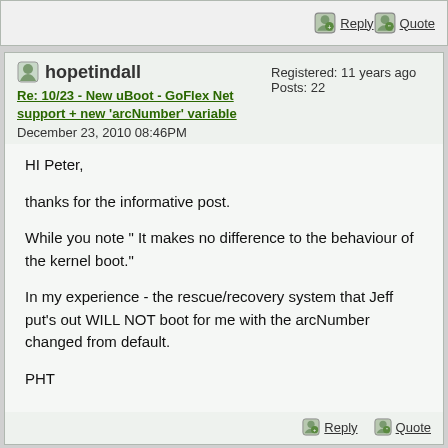Reply  Quote
hopetindall
Re: 10/23 - New uBoot - GoFlex Net support + new 'arcNumber' variable
December 23, 2010 08:46PM
Registered: 11 years ago
Posts: 22
HI Peter,

thanks for the informative post.

While you note " It makes no difference to the behaviour of the kernel boot."

In my experience - the rescue/recovery system that Jeff put's out WILL NOT boot for me with the arcNumber changed from default.

PHT
Reply  Quote
Differ